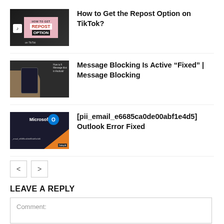[Figure (screenshot): Thumbnail for 'How to Get the Repost Option on TikTok?' article showing dark background with pink overlay and TikTok logo]
How to Get the Repost Option on TikTok?
[Figure (screenshot): Thumbnail for 'Message Blocking Is Active Fixed | Message Blocking' article showing person holding phone]
Message Blocking Is Active “Fixed” | Message Blocking
[Figure (screenshot): Thumbnail for '[pii_email_e6685ca0de00abf1e4d5] Outlook Error Fixed' showing Microsoft Outlook error screen]
[pii_email_e6685ca0de00abf1e4d5] Outlook Error Fixed
< >
LEAVE A REPLY
Comment: